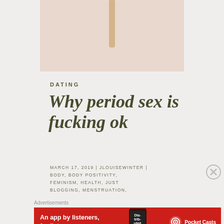[Figure (photo): Photo of a popsicle stick on a pink/blush background, cropped to show just the stick and background]
DATING
Why period sex is fucking ok
MARCH 17, 2019 | JLOUISEWINTER | BODY, BODY POSITIVITY, FEMINISM, HEALTH, JUST BLOGGING, MENSTRUATION,
Advertisements
[Figure (other): Red advertisement banner for Pocket Casts app — 'An app by listeners, for listeners.' with Pocket Casts logo on the right and a phone image in the middle]